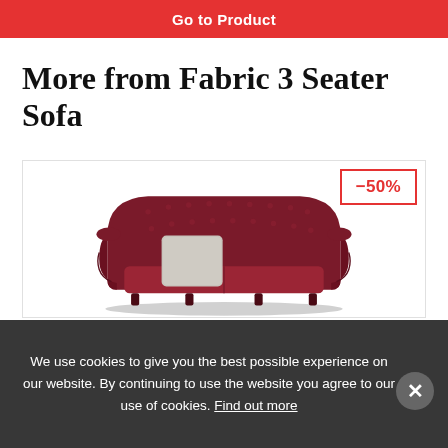Go to Product
More from Fabric 3 Seater Sofa
[Figure (photo): Red tufted Chesterfield 3-seater sofa with a grey cushion, shown with a -50% discount badge]
We use cookies to give you the best possible experience on our website. By continuing to use the website you agree to our use of cookies. Find out more